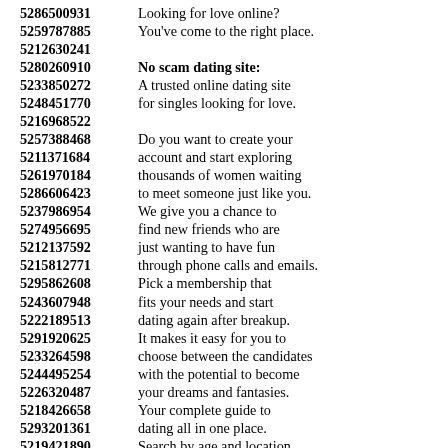5286500931  Looking for love online?
5259787885  You've come to the right place.
5212630241
5280260910  No scam dating site:
5233850272  A trusted online dating site
5248451770  for singles looking for love.
5216968522
5257388468  Do you want to create your
5211371684  account and start exploring
5261970184  thousands of women waiting
5286606423  to meet someone just like you.
5237986954  We give you a chance to
5274956695  find new friends who are
5212137592  just wanting to have fun
5215812771  through phone calls and emails.
5295862608  Pick a membership that
5243607948  fits your needs and start
5222189513  dating again after breakup.
5291920625  It makes it easy for you to
5233264598  choose between the candidates
5244495254  with the potential to become
5226320487  your dreams and fantasies.
5218426658  Your complete guide to
5293201361  dating all in one place.
5219421890  Search by age and location,